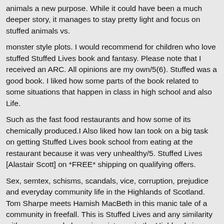animals a new purpose. While it could have been a much deeper story, it manages to stay pretty light and focus on stuffed animals vs.
monster style plots. I would recommend for children who love stuffed Stuffed Lives book and fantasy. Please note that I received an ARC. All opinions are my own/5(6). Stuffed was a good book. I liked how some parts of the book related to some situations that happen in class in high school and also Life.
Such as the fast food restaurants and how some of its chemically produced.I Also liked how Ian took on a big task on getting Stuffed Lives book school from eating at the restaurant because it was very unhealthy/5. Stuffed Lives [Alastair Scott] on *FREE* shipping on qualifying offers.
Sex, semtex, schisms, scandals, vice, corruption, prejudice and everyday community life in the Highlands of Scotland. Tom Sharpe meets Hamish MacBeth in this manic tale of a community in freefall. This is Stuffed Lives and any similarity with persons and places in existence in the Highlands is entirely intentional.
Alastair Scott's first novel is a comic tour-de-force in the style of Tom Sharpe, but much, much sharper. Length: pages Word Wise: Enabled Enhanced (/5(4).